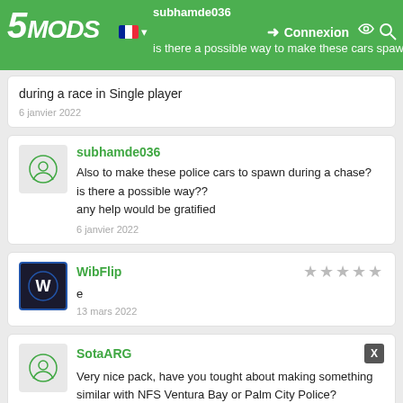5MODS | subhamde036 | Connexion
is there a possible way to make these cars spawn during a race in Single player
6 janvier 2022
subhamde036
Also to make these police cars to spawn during a chase?
is there a possible way??
any help would be gratified
6 janvier 2022
WibFlip
e
13 mars 2022
SotaARG
Very nice pack, have you tought about making something similar with NFS Ventura Bay or Palm City Police?